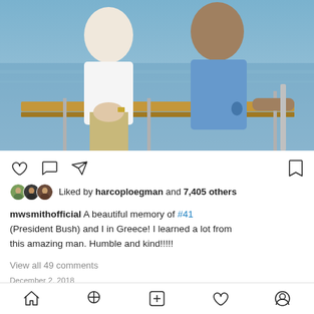[Figure (photo): Two people on a boat deck with blue water in background — partial torsos visible, one in white shirt, one in light blue shirt]
[Figure (infographic): Instagram action icons row: heart (like), speech bubble (comment), paper plane (share), bookmark (save)]
Liked by harcoploegman and 7,405 others
mwsmithofficial A beautiful memory of #41 (President Bush) and I in Greece! I learned a lot from this amazing man. Humble and kind!!!!!
View all 49 comments
December 2, 2018
mwsmithofficial (verified) ···
[Figure (photo): Black and white photograph showing two people, partially visible from top of frame]